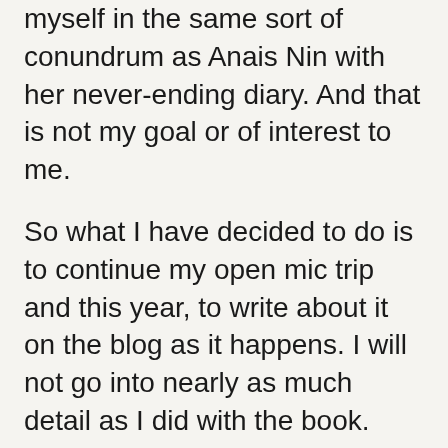myself in the same sort of conundrum as Anais Nin with her never-ending diary. And that is not my goal or of interest to me.
So what I have decided to do is to continue my open mic trip and this year, to write about it on the blog as it happens. I will not go into nearly as much detail as I did with the book. This will be a “live” version of the journey, fed right into the blog. I will occasionally obviously, however, refer to my experiences last year as I revisit some of the original open mics. And when it seems appropriate, I will put up some excerpts from the